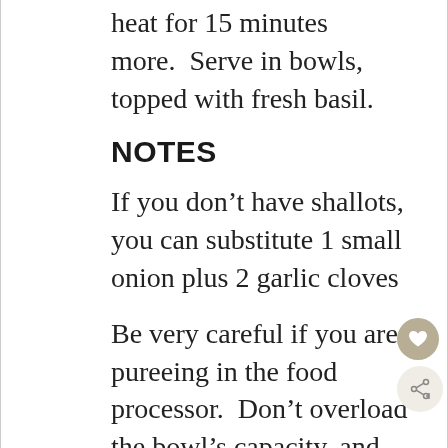heat for 15 minutes more.  Serve in bowls, topped with fresh basil.
NOTES
If you don’t have shallots, you can substitute 1 small onion plus 2 garlic cloves
Be very careful if you are pureeing in the food processor.  Don’t overload the bowl’s capacity, and